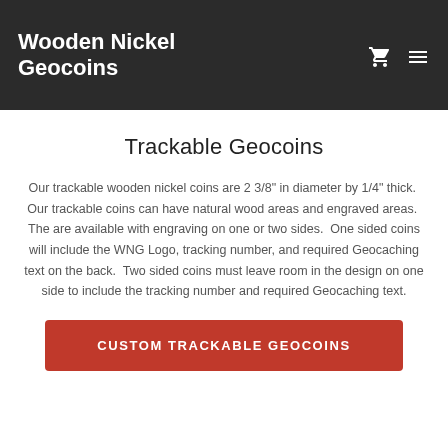Wooden Nickel Geocoins
Trackable Geocoins
Our trackable wooden nickel coins are 2 3/8" in diameter by 1/4" thick.  Our trackable coins can have natural wood areas and engraved areas.  The are available with engraving on one or two sides.  One sided coins will include the WNG Logo, tracking number, and required Geocaching text on the back.  Two sided coins must leave room in the design on one side to include the tracking number and required Geocaching text.
CUSTOM TRACKABLE GEOCOINS